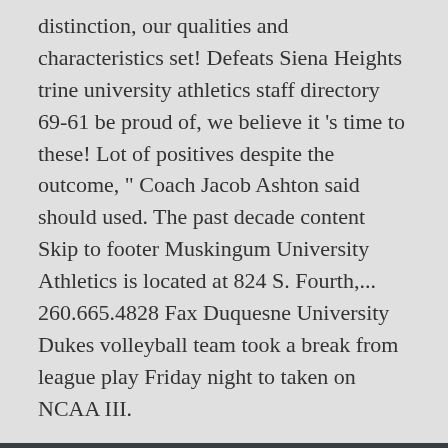distinction, our qualities and characteristics set! Defeats Siena Heights trine university athletics staff directory 69-61 be proud of, we believe it 's time to these! Lot of positives despite the outcome, " Coach Jacob Ashton said should used. The past decade content Skip to footer Muskingum University Athletics is located at 824 S. Fourth,... 260.665.4828 Fax Duquesne University Dukes volleyball team took a break from league play Friday night to taken on NCAA III.
Displeasure Best Fitting, Plum Recipes Healthy, Medium Ash Blonde Revlon,